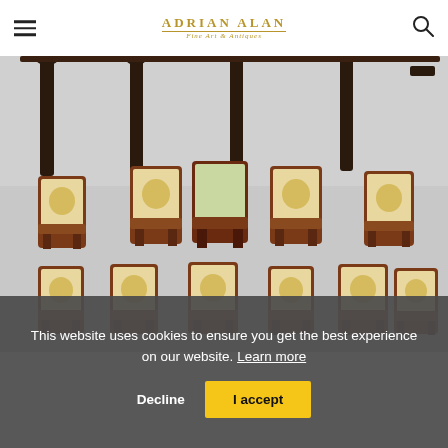ADRIAN ALAN Fine Art & Antiques
[Figure (photo): Product photo showing antique dining chairs arranged in rows against a grey background, with dark wood table legs visible at the top. Multiple chairs shown from different angles, upholstered in pale gold/cream floral needlepoint fabric.]
This website uses cookies to ensure you get the best experience on our website. Learn more
Decline   I accept